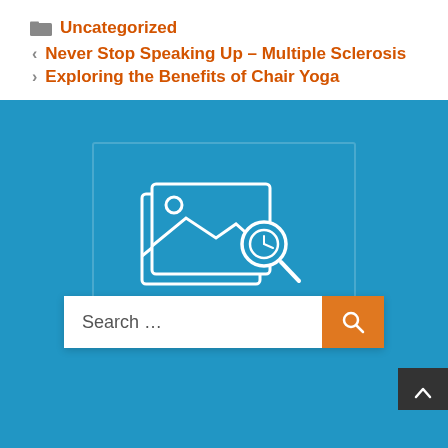📁 Uncategorized
< Never Stop Speaking Up – Multiple Sclerosis
> Exploring the Benefits of Chair Yoga
[Figure (screenshot): Blue section with broken image icon and search bar with orange search button and back-to-top button]